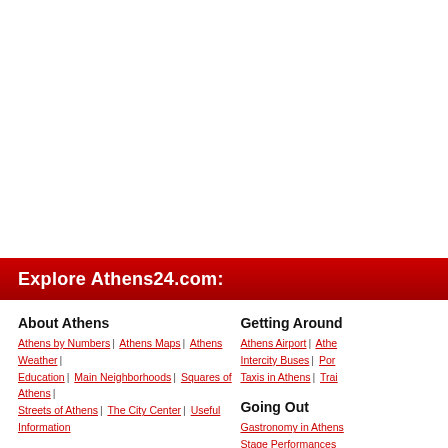[Figure (other): Large white/blank upper portion of a webpage screenshot]
Explore Athens24.com:
About Athens
Athens by Numbers | Athens Maps | Athens Weather | Education | Main Neighborhoods | Squares of Athens | Streets of Athens | The City Center | Useful Information
Getting Around
Athens Airport | Athe... | Intercity Buses | Port... | Taxis in Athens | Trai...
Ancient Sights
Academy of Plato | Acropolis | Ancient Agora | Areopagus | Dionysus Theater | Herodeon | Kallimarmaro | Kerameikos | Lysicrates' Monument | Olympeion | Pnyx | Roman Agora
Going Out
Gastronomy in Athens... | Stage Performances...
Excursions
History
Compact History | His...